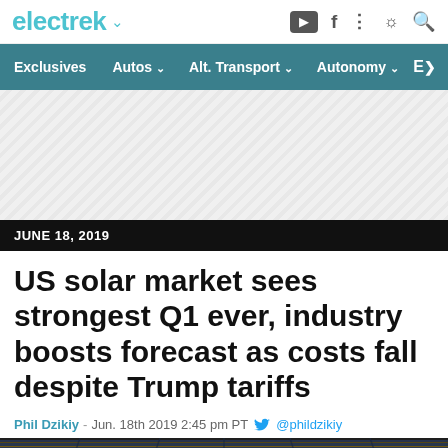electrek
Exclusives | Autos | Alt. Transport | Autonomy |
[Figure (other): Advertisement placeholder with diagonal striped pattern]
JUNE 18, 2019
US solar market sees strongest Q1 ever, industry boosts forecast as costs fall despite Trump tariffs
Phil Dzikiy  -  Jun. 18th 2019 2:45 pm PT  @phildzikiy
[Figure (photo): Solar panels viewed from a low angle showing rows of blue and gray panels with yellow/green tones]